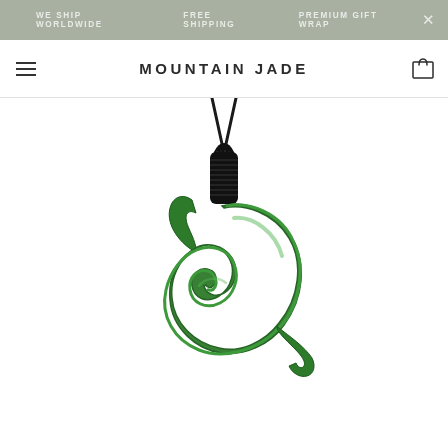WE SHIP WORLDWIDE   FREE SHIPPING   PREMIUM GIFT WRAP
MOUNTAIN JADE
[Figure (photo): Green jade fish hook pendant (Hei Matau) hanging on a black braided cord, carved from nephrite jade, photographed against a white background.]